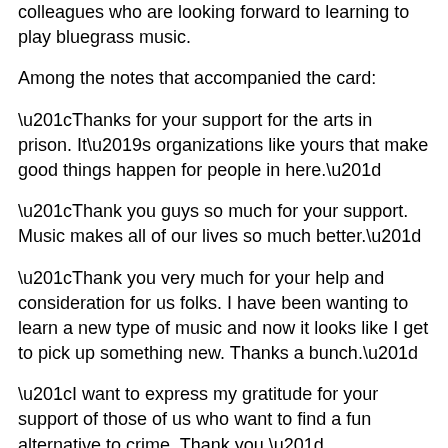colleagues who are looking forward to learning to play bluegrass music.
Among the notes that accompanied the card:
“Thanks for your support for the arts in prison. It’s organizations like yours that make good things happen for people in here.”
“Thank you guys so much for your support. Music makes all of our lives so much better.”
“Thank you very much for your help and consideration for us folks. I have been wanting to learn a new type of music and now it looks like I get to pick up something new. Thanks a bunch.”
“I want to express my gratitude for your support of those of us who want to find a fun alternative to crime. Thank you.”
“Thank you kindly. Every inmate in Avenal State